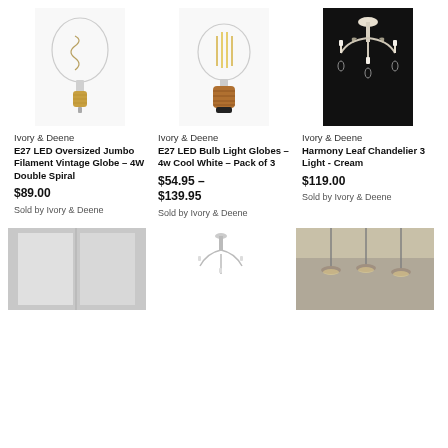[Figure (photo): Clear glass E27 LED oversized jumbo filament vintage globe bulb with brass/gold base on white background]
Ivory & Deene
E27 LED Oversized Jumbo Filament Vintage Globe – 4W Double Spiral
$89.00
Sold by Ivory & Deene
[Figure (photo): Clear glass E27 LED bulb light globe with copper/bronze base on white background, showing visible filament]
Ivory & Deene
E27 LED Bulb Light Globes – 4w Cool White – Pack of 3
$54.95 – $139.95
Sold by Ivory & Deene
[Figure (photo): Cream/white ornate leaf chandelier with 3 lights against a black background]
Ivory & Deene
Harmony Leaf Chandelier 3 Light - Cream
$119.00
Sold by Ivory & Deene
[Figure (photo): Light grey/silver panel or mirror partially visible at bottom left]
[Figure (photo): Small white/cream chandelier partially visible at bottom center]
[Figure (photo): Room interior with pendant light fixture partially visible at bottom right]